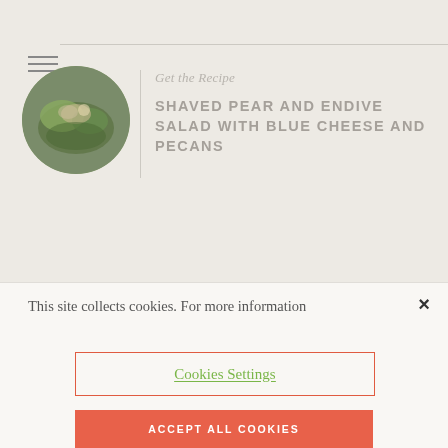[Figure (screenshot): Website screenshot showing a food recipe page with hamburger menu icon, circular food photo, and recipe header for 'Shaved Pear and Endive Salad with Blue Cheese and Pecans']
Get the Recipe
SHAVED PEAR AND ENDIVE SALAD WITH BLUE CHEESE AND PECANS
Treated right, a mandoline can do so much more than slice.
This site collects cookies. For more information
Cookies Settings
ACCEPT ALL COOKIES